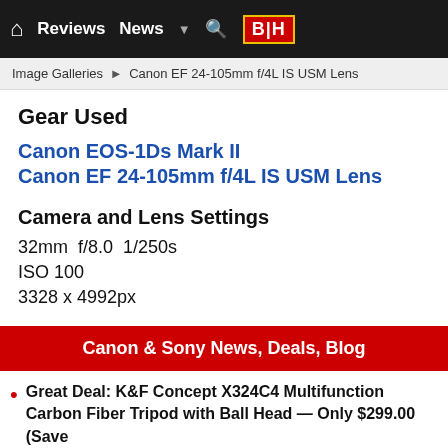Reviews  News  ▼  🔍  B|H
Image Galleries ▶ Canon EF 24-105mm f/4L IS USM Lens
Gear Used
Canon EOS-1Ds Mark II
Canon EF 24-105mm f/4L IS USM Lens
Camera and Lens Settings
32mm  f/8.0  1/250s
ISO 100
3328 x 4992px
Canon & Sony News, Deals, Blog
Great Deal: K&F Concept X324C4 Multifunction Carbon Fiber Tripod with Ball Head — Only $299.00 (Save